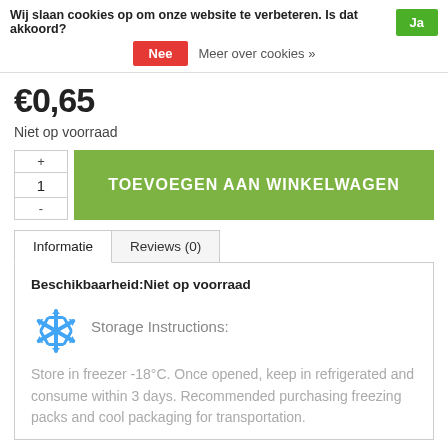Wij slaan cookies op om onze website te verbeteren. Is dat akkoord?
Ja
Nee
Meer over cookies »
€0,65
Niet op voorraad
1
TOEVOEGEN AAN WINKELWAGEN
Informatie
Reviews (0)
Beschikbaarheid:Niet op voorraad
Storage Instructions:
Store in freezer -18°C. Once opened, keep in refrigerated and consume within 3 days. Recommended purchasing freezing packs and cool packaging for transportation.